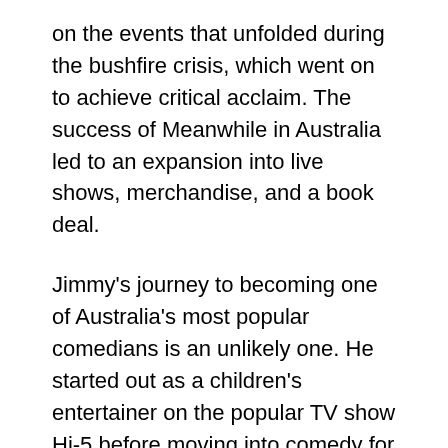on the events that unfolded during the bushfire crisis, which went on to achieve critical acclaim. The success of Meanwhile in Australia led to an expansion into live shows, merchandise, and a book deal.
Jimmy's journey to becoming one of Australia's most popular comedians is an unlikely one. He started out as a children's entertainer on the popular TV show Hi-5 before moving into comedy for adults under the stage name Jimmy Giggle. It was only when he started posting videos online that his career took off, with his first big hit being a parody of Miley Cyrus' Wrecking Ball music video. The rest, as they say, is history.